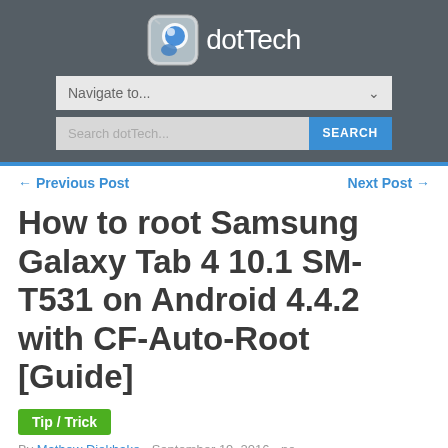dotTech
Navigate to...
Search dotTech... SEARCH
← Previous Post   Next Post →
How to root Samsung Galaxy Tab 4 10.1 SM-T531 on Android 4.4.2 with CF-Auto-Root [Guide]
Tip / Trick
By Mathew Diekhake - September 19, 2016 - no